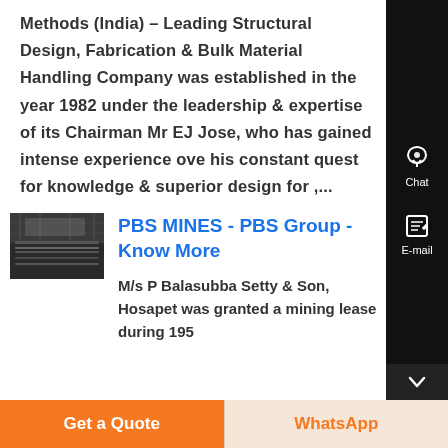Methods (India) – Leading Structural Design, Fabrication & Bulk Material Handling Company was established in the year 1982 under the leadership & expertise of its Chairman Mr EJ Jose, who has gained intense experience over his constant quest for knowledge & superior design for ,...
[Figure (photo): Thumbnail image of an industrial mining or fabrication facility interior, dark tones]
PBS MINES - PBS Group - Know More
M/s P Balasubba Setty & Son, Hosapet was granted a mining lease during 195...